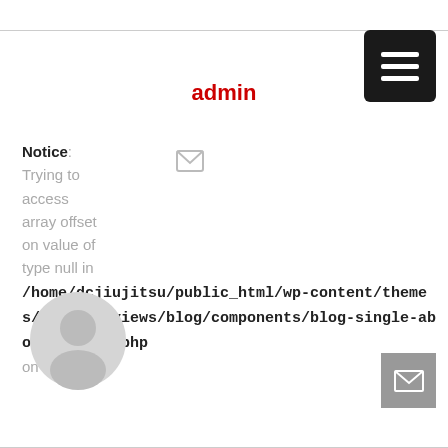admin
Notice: Trying to access array offset on value of type null in /home/dcjiujitsu/public_html/wp-content/themes/jupiter/views/blog/components/blog-single-about-author.php on line 18
[Figure (illustration): Gray circular avatar/user placeholder icon]
[Figure (other): Gray square mail/envelope button in bottom right]